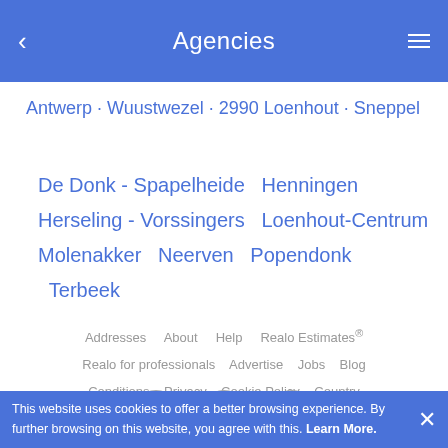Agencies
Antwerp · Wuustwezel · 2990 Loenhout · Sneppel
De Donk - Spapelheide  Henningen
Herseling - Vorssingers  Loenhout-Centrum
Molenakker  Neerven  Popendonk  Terbeek
Addresses  About  Help  Realo Estimates®  Realo for professionals  Advertise  Jobs  Blog  Conditions  Privacy  Cookie Policy  Country  Language
This website uses cookies to offer a better browsing experience. By further browsing on this website, you agree with this. Learn More.